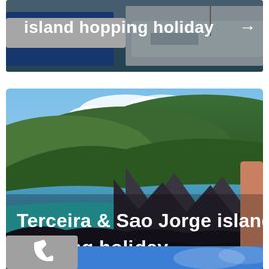[Figure (photo): Top banner showing marina with boats and text 'island hopping holiday' with arrow]
[Figure (photo): Large photo of Terceira and Sao Jorge island coastline with volcanic cliffs and blue sea, text overlay reads 'Terceira & Sao Jorge island hopping holiday' with arrow]
[Figure (photo): Bottom partial view showing phone icon box (grey) and blue banner]